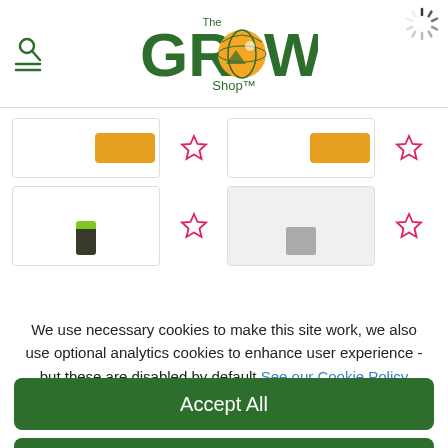[Figure (screenshot): The Grow Shop website header with logo, hamburger menu icon, and loading spinner]
[Figure (screenshot): Partially visible e-commerce product listing rows with orange add-to-cart buttons and star/wishlist icons]
We use necessary cookies to make this site work, we also use optional analytics cookies to enhance user experience - but these are disabled by default See our Cookie Policy
[Figure (other): Accept All button - green rounded rectangle]
[Figure (other): Reject All button - green rounded rectangle]
[Figure (other): Settings button - white with green border rounded rectangle]